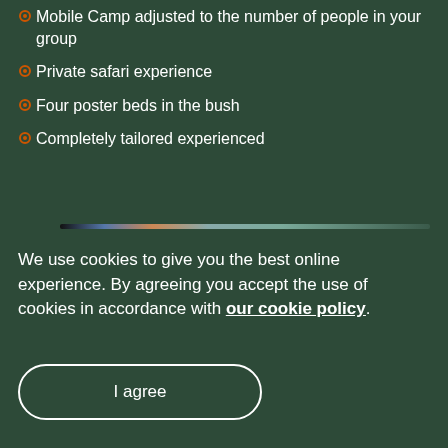Mobile Camp adjusted to the number of people in your group
Private safari experience
Four poster beds in the bush
Completely tailored experienced
[Figure (other): Horizontal gradient divider bar going from dark/black on left through blue and orange to a long light grey-green line on the right]
We use cookies to give you the best online experience. By agreeing you accept the use of cookies in accordance with our cookie policy.
I agree